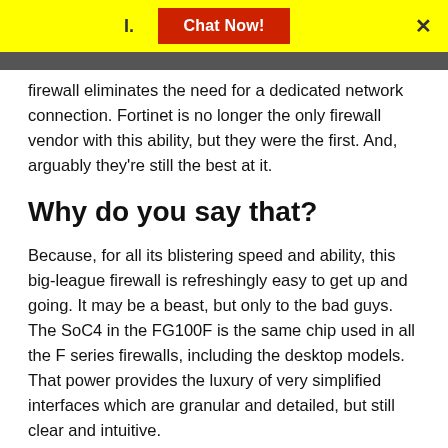[Figure (screenshot): Yellow chat bar at top with red 'Chat Now!' button and close X button]
firewall eliminates the need for a dedicated network connection. Fortinet is no longer the only firewall vendor with this ability, but they were the first. And, arguably they're still the best at it.
Why do you say that?
Because, for all its blistering speed and ability, this big-league firewall is refreshingly easy to get up and going. It may be a beast, but only to the bad guys. The SoC4 in the FG100F is the same chip used in all the F series firewalls, including the desktop models. That power provides the luxury of very simplified interfaces which are granular and detailed, but still clear and intuitive.
And, all SD-WAN FortiGates are managed in the same Management Center, by the same Fortinet Security Fabric. From it you can manage your entire network, with all devices, in one window. Terms like “zero-touch deployment,” and “do-it-yourself,” mean it’s super-easy to get up and running and stay that way. The FG 100F is designed to get up and purring like